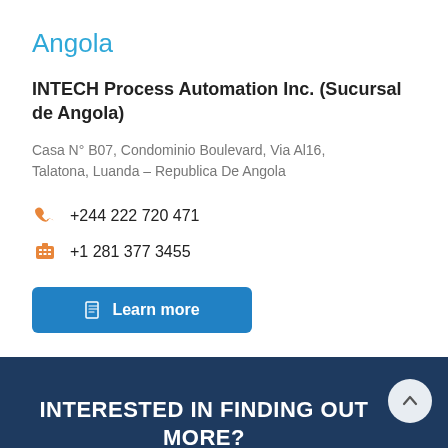Angola
INTECH Process Automation Inc. (Sucursal de Angola)
Casa N° B07, Condominio Boulevard, Via Al16, Talatona, Luanda – Republica De Angola
+244 222 720 471
+1 281 377 3455
Learn more
INTERESTED IN FINDING OUT MORE?